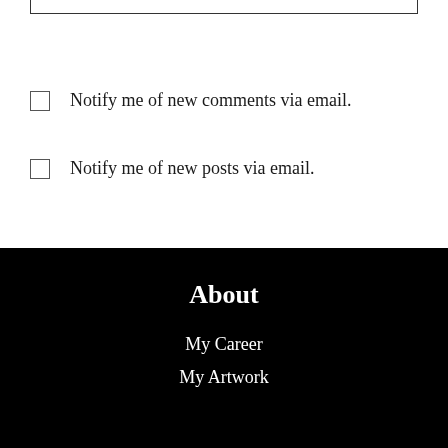Notify me of new comments via email.
Notify me of new posts via email.
About
My Career
My Artwork